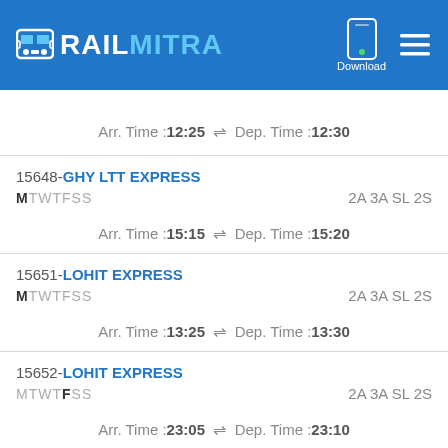[Figure (logo): RailMitra app logo in blue header with download button and hamburger menu]
Arr. Time :12:25  ⇌  Dep. Time :12:30
15648-GHY LTT EXPRESS | MTWTFSS | 2A 3A SL 2S | Arr. Time :15:15 ⇌ Dep. Time :15:20
15651-LOHIT EXPRESS | MTWTFSS | 2A 3A SL 2S | Arr. Time :13:25 ⇌ Dep. Time :13:30
15652-LOHIT EXPRESS | MTWTFSS | 2A 3A SL 2S | Arr. Time :23:05 ⇌ Dep. Time :23:10